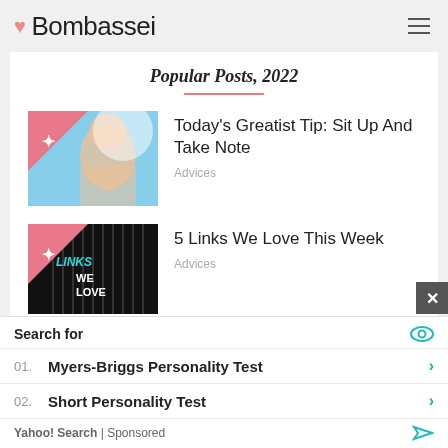Bombassei
Popular Posts, 2022
[Figure (photo): Thumbnail of smiling woman with sunlight, pink triangle badge overlay]
Today's Greatist Tip: Sit Up And Take Note
Advices
[Figure (photo): Thumbnail of dark background with text LINKS WE LOVE, pink triangle badge overlay]
5 Links We Love This Week
Advices
Search for
01. Myers-Briggs Personality Test
02. Short Personality Test
Yahoo! Search | Sponsored